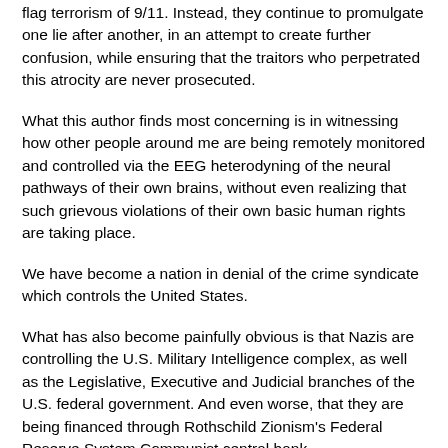flag terrorism of 9/11. Instead, they continue to promulgate one lie after another, in an attempt to create further confusion, while ensuring that the traitors who perpetrated this atrocity are never prosecuted.
What this author finds most concerning is in witnessing how other people around me are being remotely monitored and controlled via the EEG heterodyning of the neural pathways of their own brains, without even realizing that such grievous violations of their own basic human rights are taking place.
We have become a nation in denial of the crime syndicate which controls the United States.
What has also become painfully obvious is that Nazis are controlling the U.S. Military Intelligence complex, as well as the Legislative, Executive and Judicial branches of the U.S. federal government. And even worse, that they are being financed through Rothschild Zionism's Federal Reserve System Communist central bank.
The House of Rothschild helped financed Hitler's rise to power in the 1930s, however, Hitler turned on them. With